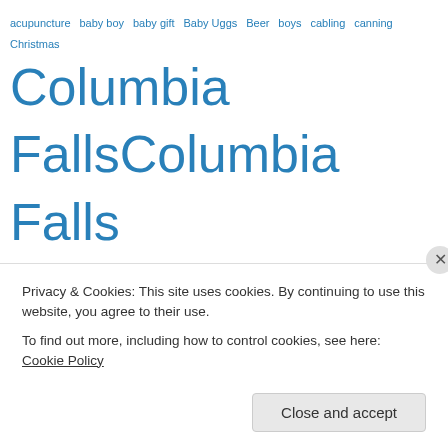[Figure (other): Tag cloud with terms of varying sizes in blue: acupuncture, baby boy, baby gift, Baby Uggs, Beer, boys, cabling, canning, Christmas, Columbia Falls (large), Columbia Falls (large), Community Garden (large), community garden (large), corrugated, Diana Gabaldon, dog (large), dogs, Fiona's Top, Flathead, Flathead Valley, food, Fruit and Vegetable, garden (huge), gardening (large), garlic, Glacier National Park (large), health, high school, history, knitting (huge), Lake MacDonald, Lake Michigan, lily sugar n' cream, lunch, lunches for work, Mark]
Privacy & Cookies: This site uses cookies. By continuing to use this website, you agree to their use.
To find out more, including how to control cookies, see here: Cookie Policy